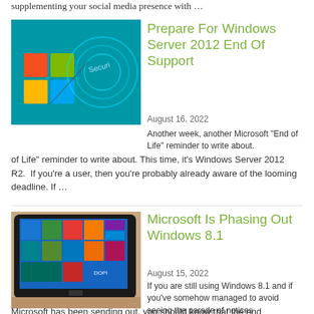supplementing your social media presence with …
[Figure (photo): Windows logo with security globe graphic on teal background]
Prepare For Windows Server 2012 End Of Support
August 16, 2022
Another week, another Microsoft "End of Life" reminder to write about. This time, it's Windows Server 2012 R2.  If you're a user, then you're probably already aware of the looming deadline. If …
[Figure (photo): Microsoft Surface tablet device on wooden surface showing Windows 8 start screen]
Microsoft Is Phasing Out Windows 8.1
August 15, 2022
If you are still using Windows 8.1 and if you've somehow managed to avoid seeing the parade of notices Microsoft has been sending out, you should know that the end